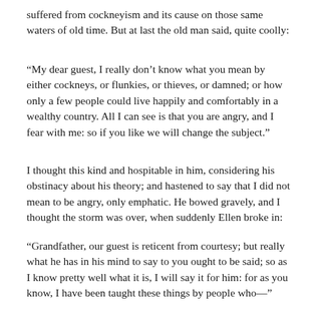suffered from cockneyism and its cause on those same waters of old time. But at last the old man said, quite coolly:
“My dear guest, I really don’t know what you mean by either cockneys, or flunkies, or thieves, or damned; or how only a few people could live happily and comfortably in a wealthy country. All I can see is that you are angry, and I fear with me: so if you like we will change the subject.”
I thought this kind and hospitable in him, considering his obstinacy about his theory; and hastened to say that I did not mean to be angry, only emphatic. He bowed gravely, and I thought the storm was over, when suddenly Ellen broke in:
“Grandfather, our guest is reticent from courtesy; but really what he has in his mind to say to you ought to be said; so as I know pretty well what it is, I will say it for him: for as you know, I have been taught these things by people who—”